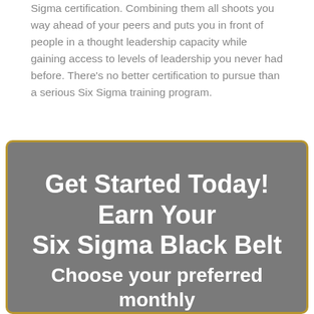Sigma certification. Combining them all shoots you way ahead of your peers and puts you in front of people in a thought leadership capacity while gaining access to levels of leadership you never had before. There's no better certification to pursue than a serious Six Sigma training program.
[Figure (infographic): Dark gray promotional box with gold border containing bold white text: 'Get Started Today! Earn Your Six Sigma Black Belt' and subtitle text 'Choose your preferred monthly']